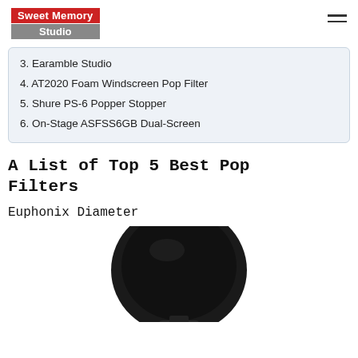Sweet Memory Studio
3. Earamble Studio
4. AT2020 Foam Windscreen Pop Filter
5. Shure PS-6 Popper Stopper
6. On-Stage ASFSS6GB Dual-Screen
A List of Top 5 Best Pop Filters
Euphonix Diameter
[Figure (photo): Black circular pop filter viewed from above, showing a dark mesh screen with a black frame and mount]